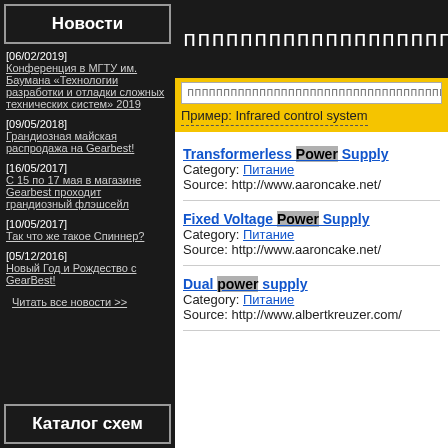Новости
[06/02/2019] Конференция в МГТУ им. Баумана «Технологии разработки и отладки сложных технических систем» 2019
[09/05/2018] Грандиозная майская распродажа на Gearbest!
[16/05/2017] С 15 по 17 мая в магазине Gearbest проходит грандиозный флэшсейл
[10/05/2017] Так что же такое Спиннер?
[05/12/2016] Новый Год и Рождество с GearBest!
Читать все новости >>
Каталог схем
[Figure (screenshot): Search bar with placeholder text of repeated 'n' characters on black background]
Пример: Infrared control system
Transformerless Power Supply
Category: Питание
Source: http://www.aaroncake.net/
Fixed Voltage Power Supply
Category: Питание
Source: http://www.aaroncake.net/
Dual power supply
Category: Питание
Source: http://www.albertkreuzer.com/